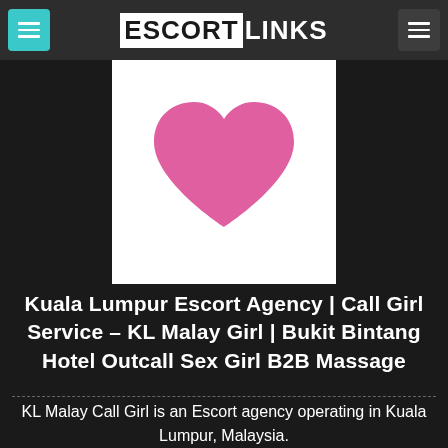ESCORTLINKS
[Figure (illustration): White square with a pink heart shape in the center]
Kuala Lumpur Escort Agency | Call Girl Service – KL Malay Girl | Bukit Bintang Hotel Outcall Sex Girl B2B Massage
KL Malay Call Girl is an Escort agency operating in Kuala Lumpur, Malaysia.